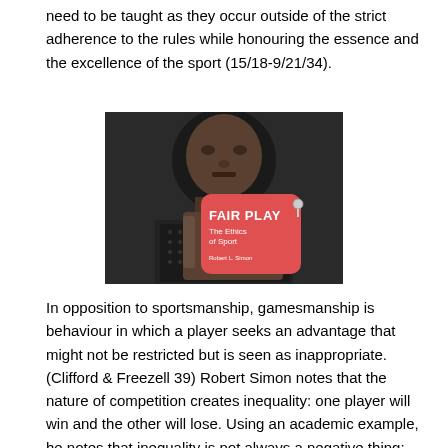need to be taught as they occur outside of the strict adherence to the rules while honouring the essence and the excellence of the sport (15/18-9/21/34).
[Figure (photo): Black and white photograph of a person holding a red book titled 'Fair Play: The Ethics of Sport' by Robert L. Simon]
In opposition to sportsmanship, gamesmanship is behaviour in which a player seeks an advantage that might not be restricted but is seen as inappropriate. (Clifford & Freezell 39) Robert Simon notes that the nature of competition creates inequality: one player will win and the other will lose. Using an academic example, he notes that inequality is not always a negative thing; grades for example, are considered fair inequality (36-7). Feezell, in his book Sport, Play and Ethical Reflection, defines a cheater as a player who gains an unfair